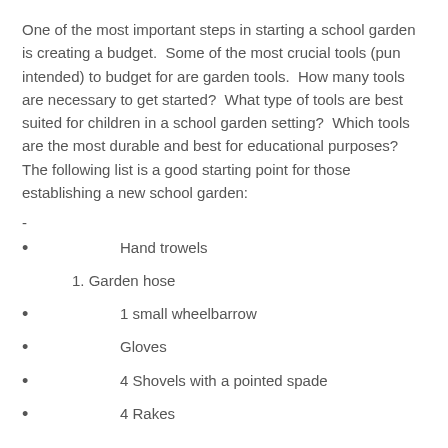One of the most important steps in starting a school garden is creating a budget.  Some of the most crucial tools (pun intended) to budget for are garden tools.  How many tools are necessary to get started?  What type of tools are best suited for children in a school garden setting?  Which tools are the most durable and best for educational purposes?  The following list is a good starting point for those establishing a new school garden:
-
Hand trowels
1. Garden hose
1 small wheelbarrow
Gloves
4 Shovels with a pointed spade
4 Rakes